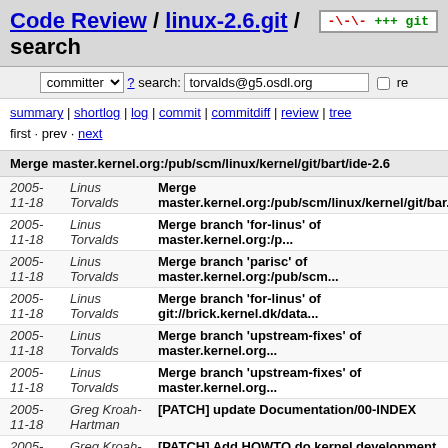Code Review / linux-2.6.git / search
committer ? search: torvalds@g5.osdl.org re
summary | shortlog | log | commit | commitdiff | review | tree
first · prev · next
Merge master.kernel.org:/pub/scm/linux/kernel/git/bart/ide-2.6
| Date | Author | Message |
| --- | --- | --- |
| 2005-
11-18 | Linus Torvalds | Merge master.kernel.org:/pub/scm/linux/kernel/git/bar... |
| 2005-
11-18 | Linus Torvalds | Merge branch 'for-linus' of master.kernel.org:/p... |
| 2005-
11-18 | Linus Torvalds | Merge branch 'parisc' of master.kernel.org:/pub/scm... |
| 2005-
11-18 | Linus Torvalds | Merge branch 'for-linus' of git://brick.kernel.dk/data... |
| 2005-
11-18 | Linus Torvalds | Merge branch 'upstream-fixes' of master.kernel.org... |
| 2005-
11-18 | Linus Torvalds | Merge branch 'upstream-fixes' of master.kernel.org... |
| 2005-
11-18 | Greg Kroah-Hartman | [PATCH] update Documentation/00-INDEX |
| 2005-
11-18 | Greg Kroah-Hartman | [PATCH] Add HOWTO do kernel development document to... |
| 2005- | Jody McIntyre | [PATCH] Add SCM info to MAINTAINERS |